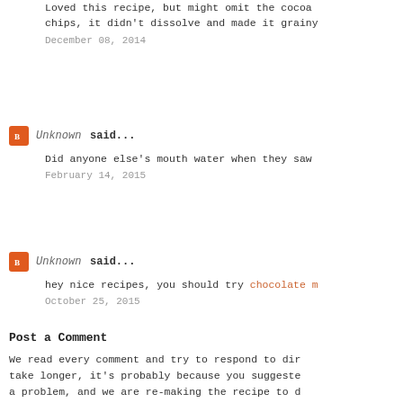Loved this recipe, but might omit the cocoa chips, it didn't dissolve and made it grainy
December 08, 2014
Unknown said...
Did anyone else's mouth water when they saw
February 14, 2015
Unknown said...
hey nice recipes, you should try chocolate m
October 25, 2015
Post a Comment
We read every comment and try to respond to dir take longer, it's probably because you suggeste a problem, and we are re-making the recipe to d Sometimes messages get lost in the spam filter, our Facebook page. Thanks for the comments, and